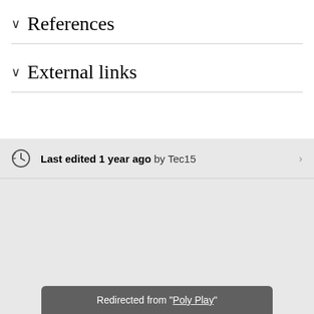References
External links
Last edited 1 year ago by Tec15
Redirected from "Poly Play"